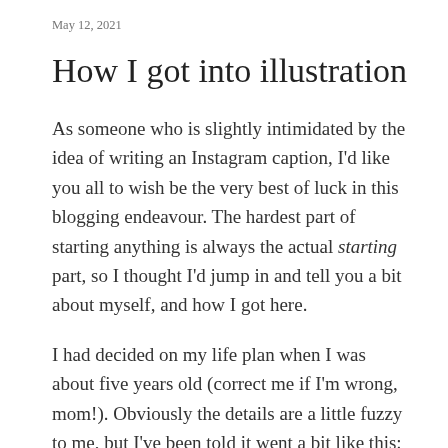May 12, 2021
How I got into illustration
As someone who is slightly intimidated by the idea of writing an Instagram caption, I'd like you all to wish be the very best of luck in this blogging endeavour. The hardest part of starting anything is always the actual starting part, so I thought I'd jump in and tell you a bit about myself, and how I got here.
I had decided on my life plan when I was about five years old (correct me if I'm wrong, mom!). Obviously the details are a little fuzzy to me, but I've been told it went a bit like this: My mom asked me what I wanted to be when I grew up, and I proudly